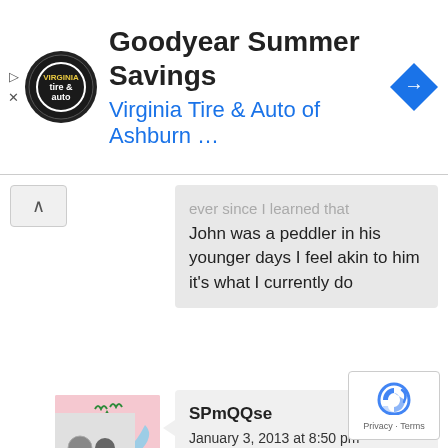[Figure (screenshot): Ad banner: Goodyear Summer Savings - Virginia Tire & Auto of Ashburn with logo and navigation icon]
ever since I learned that John was a peddler in his younger days I feel akin to him it's what I currently do
[Figure (illustration): Avatar: cartoon green tree character with wings on pink background]
SPmQQse
January 3, 2013 at 8:50 pm
barrow did, replace a band of thieves...the musa crew..!!
[Figure (logo): reCAPTCHA badge with Privacy - Terms text]